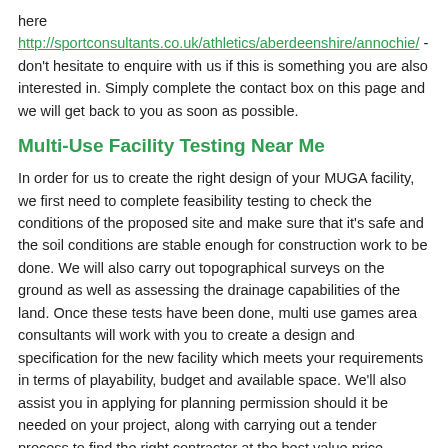here http://sportconsultants.co.uk/athletics/aberdeenshire/annochie/ - don't hesitate to enquire with us if this is something you are also interested in. Simply complete the contact box on this page and we will get back to you as soon as possible.
Multi-Use Facility Testing Near Me
In order for us to create the right design of your MUGA facility, we first need to complete feasibility testing to check the conditions of the proposed site and make sure that it's safe and the soil conditions are stable enough for construction work to be done. We will also carry out topographical surveys on the ground as well as assessing the drainage capabilities of the land. Once these tests have been done, multi use games area consultants will work with you to create a design and specification for the new facility which meets your requirements in terms of playability, budget and available space. We'll also assist you in applying for planning permission should it be needed on your project, along with carrying out a tender process to find the right contractor at the best value price.
Multipurpose Sports Court Consultancy